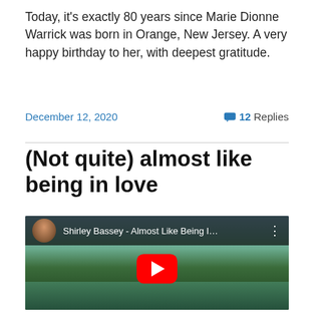Today, it's exactly 80 years since Marie Dionne Warrick was born in Orange, New Jersey. A very happy birthday to her, with deepest gratitude.
December 12, 2020   💬 12 Replies
(Not quite) almost like being in love
[Figure (screenshot): YouTube video thumbnail for 'Shirley Bassey - Almost Like Being I...' showing a nature scene with trees and a river, with a red YouTube play button in the center and a dark top bar showing the video title and a circular avatar thumbnail.]